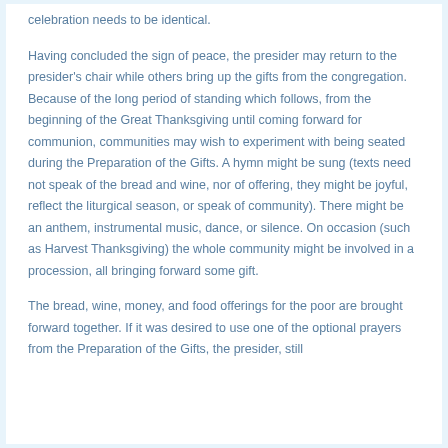celebration needs to be identical.
Having concluded the sign of peace, the presider may return to the presider's chair while others bring up the gifts from the congregation. Because of the long period of standing which follows, from the beginning of the Great Thanksgiving until coming forward for communion, communities may wish to experiment with being seated during the Preparation of the Gifts. A hymn might be sung (texts need not speak of the bread and wine, nor of offering, they might be joyful, reflect the liturgical season, or speak of community). There might be an anthem, instrumental music, dance, or silence. On occasion (such as Harvest Thanksgiving) the whole community might be involved in a procession, all bringing forward some gift.
The bread, wine, money, and food offerings for the poor are brought forward together. If it was desired to use one of the optional prayers from the Preparation of the Gifts, the presider, still